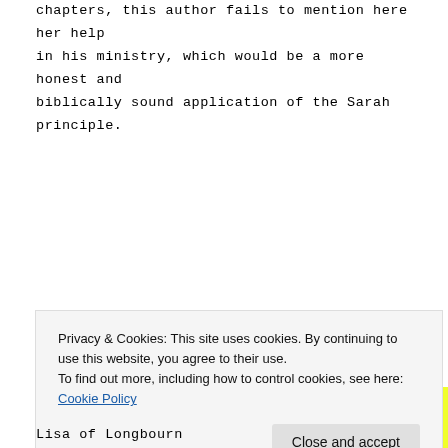chapters, this author fails to mention here her help in his ministry, which would be a more honest and biblically sound application of the Sarah principle.
[Figure (infographic): Yellow advertisement box with bold black text reading 'Share, Discuss, Collaborate, P2.' on a bright yellow background. Above the box is the label 'Advertisements'.]
Privacy & Cookies: This site uses cookies. By continuing to use this website, you agree to their use.
To find out more, including how to control cookies, see here: Cookie Policy
Lisa of Longbourn